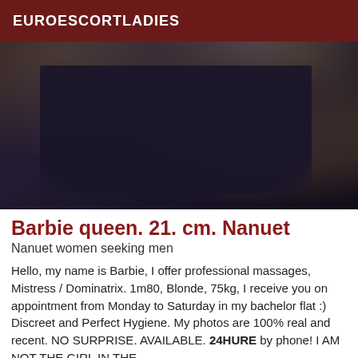EUROESCORTLADIES
[Figure (photo): Close-up photo of a blonde woman wearing a dark jacket with a star graphic, zipper visible, with long blonde hair and jewelry]
Barbie queen. 21. cm. Nanuet
Nanuet women seeking men
Hello, my name is Barbie, I offer professional massages, Mistress / Dominatrix. 1m80, Blonde, 75kg, I receive you on appointment from Monday to Saturday in my bachelor flat :) Discreet and Perfect Hygiene. My photos are 100% real and recent. NO SURPRISE. AVAILABLE. 24HURE by phone! I AM NOT THE GIRL IN THE